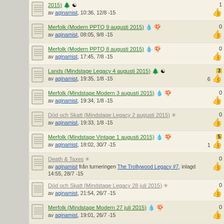2015) av aginamist, 10:36, 12/8 -15 | 1 like
Merfolk (Modern PPTQ 9 augusti 2015) av aginamist, 08:05, 9/8 -15 | 0 likes
Merfolk (Modern PPTQ 8 augusti 2015) av aginamist, 17:45, 7/8 -15 | 0 likes
Lands (Mindstage Legacy 4 augusti 2015) av aginamist, 19:35, 1/8 -15 | 3 badges, 6 likes
Merfolk (Mindstage Modern 3 augusti 2015) av aginamist, 19:34, 1/8 -15 | 0 likes
Död och Skatt (Mindstage Legacy 2 augusti 2015) av aginamist, 19:33, 1/8 -15 | 0 likes
Merfolk (Mindstage Vintage 1 augusti 2015) av aginamist, 18:02, 30/7 -15 | 5 badges, 1 like
Death & Taxes av aginamist från turneringen The Trollywood Legacy #7, inlagd 14:55, 28/7 -15 | 0 likes
Död och Skatt (Mindstage Legacy 28 juli 2015) av aginamist, 21:54, 26/7 -15 | 0 likes
Merfolk (Mindstage Modern 27 juli 2015) av aginamist, 19:01, 26/7 -15 | 0 likes
The Deck with Wincons (93/94 Wexio 3 ...